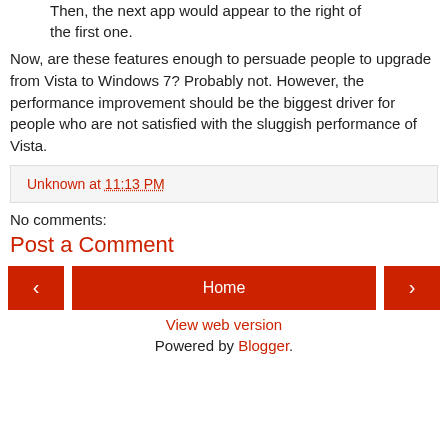Then, the next app would appear to the right of the first one.
Now, are these features enough to persuade people to upgrade from Vista to Windows 7? Probably not. However, the performance improvement should be the biggest driver for people who are not satisfied with the sluggish performance of Vista.
Unknown at 11:13 PM
No comments:
Post a Comment
Home
View web version
Powered by Blogger.